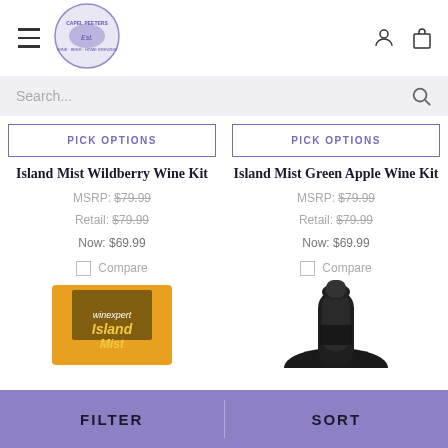[Figure (screenshot): E-commerce website header with hamburger menu, store logo, user account icon, and shopping bag icon]
Search...
PICK OPTIONS
PICK OPTIONS
Island Mist Wildberry Wine Kit
Island Mist Green Apple Wine Kit
MSRP: $79.99
Retail: $79.99
Now: $69.99
MSRP: $79.99
Retail: $79.99
Now: $69.99
Compare
Compare
[Figure (photo): Island Mist Wildberry wine kit box (winexpert brand) in orange/yellow color]
[Figure (photo): Dark wine bottle top/shoulder view]
FILTER
SORT